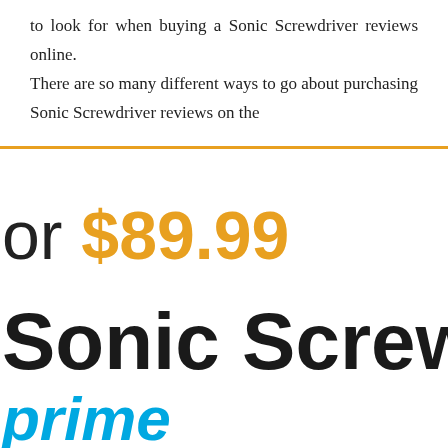to look for when buying a Sonic Screwdriver reviews online. There are so many different ways to go about purchasing Sonic Screwdriver reviews on the
or $89.99
Sonic Screwdrive
prime